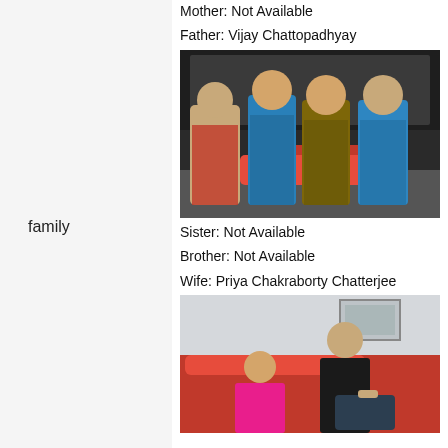Mother: Not Available
Father: Vijay Chattopadhyay
[Figure (photo): Family group photo with four people standing together in front of a car showroom]
family
Sister: Not Available
Brother: Not Available
Wife: Priya Chakraborty Chatterjee
[Figure (photo): Couple photo with a man and woman sitting on a red chair]